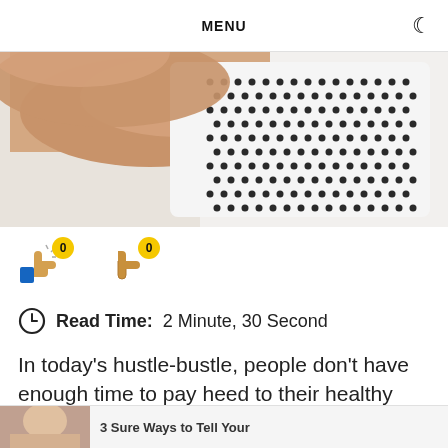MENU
[Figure (photo): A hand touching/adjusting a white air purifier with a perforated dot-pattern grille]
👍 0   👎 0
Read Time: 2 Minute, 30 Second
In today's hustle-bustle, people don't have enough time to pay heed to their healthy lifestyle. With inappropriate eating habits, lack of sleep, and an allergic environment, the pink heath begins to
[Figure (photo): Partial thumbnail at the bottom with text '3 Sure Ways to Tell Your']